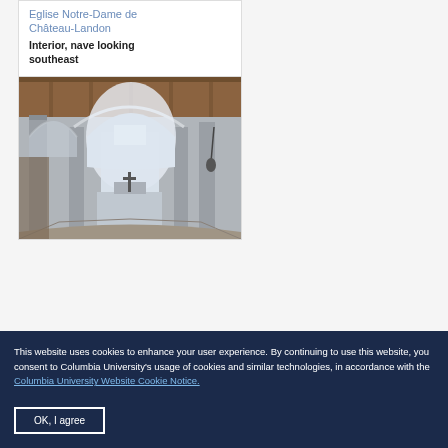Eglise Notre-Dame de Château-Landon
Interior, nave looking southeast
[Figure (photo): Interior photograph of Eglise Notre-Dame de Château-Landon, showing the nave looking southeast with Gothic arched columns and vaulted ceiling]
This website uses cookies to enhance your user experience. By continuing to use this website, you consent to Columbia University's usage of cookies and similar technologies, in accordance with the Columbia University Website Cookie Notice.
OK, I agree